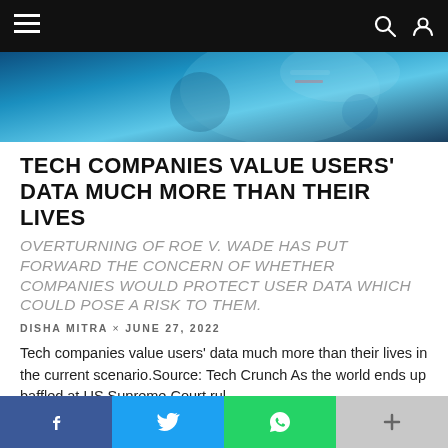Navigation bar with hamburger menu and search/user icons
[Figure (photo): Hero image with blue teal tones, showing a blurred laboratory or tech background]
TECH COMPANIES VALUE USERS' DATA MUCH MORE THAN THEIR LIVES
OVERTURNING OF ROE V. WADE HAS PUT FORWARD THE CONCERN OF WHETHER COMPANIES WOULD PROTECT USER DATA WHICH COULD POSE A RISK TO THEM.
DISHA MITRA × JUNE 27, 2022
Tech companies value users' data much more than their lives in the current scenario.Source: Tech Crunch As the world ends up baffled at US Supreme Court rul...
NEWS   WORLD